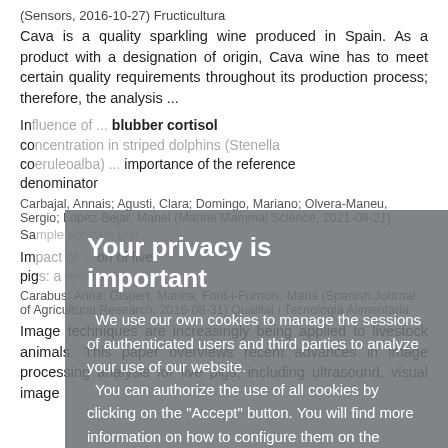(Sensors, 2016-10-27) Fructicultura
Cava is a quality sparkling wine produced in Spain. As a product with a designation of origin, Cava wine has to meet certain quality requirements throughout its production process; therefore, the analysis ...
Influence of ... blubber cortisol concentration in striped dolphins (Stenella coeruleoalba) ... importance of the reference denominator
Carbajal, Annais; Agusti, Clara; Domingo, Mariano; Olvera-Maneu, Sergio; Lopez-Bejar, Manel (Marine Mammal Science, 2021-08-21)
Sa...
Impact of ... on live pigs: a review
Carabus, Anna; Gispert, Marina; Font-i-Furnols, Maria (Spanish Journal of Agricultural Research, 2016-08-31) Qualitat i Tecnologia Alimentaria
Image techniques are increasingly being applied to livestock animals. This paper overviews recent advances in image processing analysis for live pigs, including ultrasound, visual image
Your privacy is important
We use our own cookies to manage the sessions of authenticated users and third parties to analyze your use of our website.
You can authorize the use of all cookies by clicking on the "Accept" button. You will find more information on how to configure them on the Cookies Policy page.